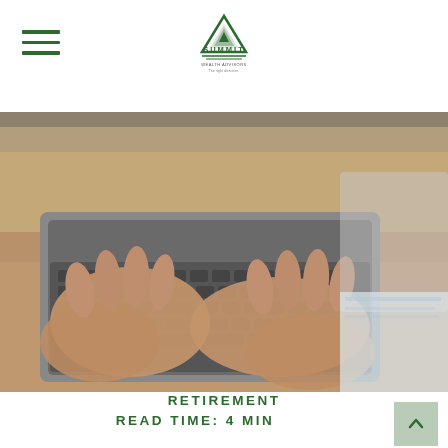Summit Wealth Advisors - Navigation header with hamburger menu and logo
[Figure (photo): Close-up photo of elderly hands typing on a laptop computer keyboard, placed on a wooden desk with papers visible in the background]
RETIREMENT
READ TIME: 4 MIN
Retirement Seen